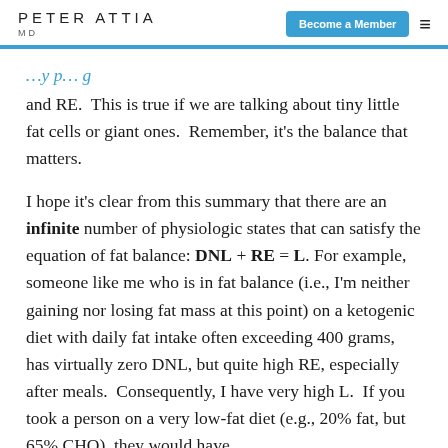PETER ATTIA MD
and RE.  This is true if we are talking about tiny little fat cells or giant ones.  Remember, it's the balance that matters.
I hope it's clear from this summary that there are an infinite number of physiologic states that can satisfy the equation of fat balance: DNL + RE = L.  For example, someone like me who is in fat balance (i.e., I'm neither gaining nor losing fat mass at this point) on a ketogenic diet with daily fat intake often exceeding 400 grams, has virtually zero DNL, but quite high RE, especially after meals.  Consequently, I have very high L.  If you took a person on a very low-fat diet (e.g., 20% fat, but 65% CHO), they would have